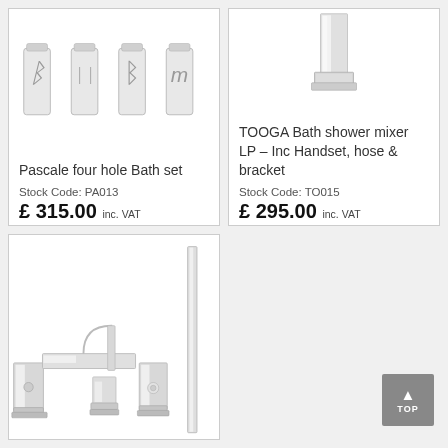[Figure (photo): Pascale four hole Bath set - chrome bathroom taps/handles shown from above]
Pascale four hole Bath set
Stock Code: PA013
£ 315.00 inc. VAT
[Figure (photo): TOOGA Bath shower mixer LP - tall square chrome column fixture]
TOOGA Bath shower mixer LP – Inc Handset, hose & bracket
Stock Code: TO015
£ 295.00 inc. VAT
[Figure (photo): Chrome bath mixer tap set with square handles and shower handset - modern angular design]